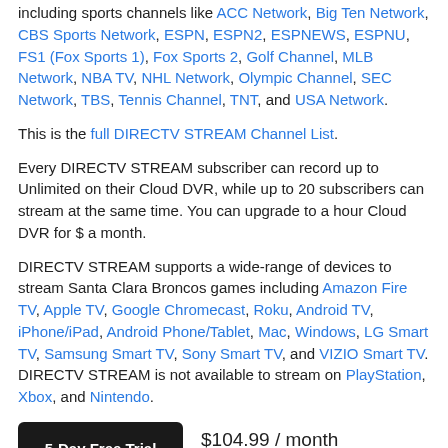including sports channels like ACC Network, Big Ten Network, CBS Sports Network, ESPN, ESPN2, ESPNEWS, ESPNU, FS1 (Fox Sports 1), Fox Sports 2, Golf Channel, MLB Network, NBA TV, NHL Network, Olympic Channel, SEC Network, TBS, Tennis Channel, TNT, and USA Network.
This is the full DIRECTV STREAM Channel List.
Every DIRECTV STREAM subscriber can record up to Unlimited on their Cloud DVR, while up to 20 subscribers can stream at the same time. You can upgrade to a hour Cloud DVR for $ a month.
DIRECTV STREAM supports a wide-range of devices to stream Santa Clara Broncos games including Amazon Fire TV, Apple TV, Google Chromecast, Roku, Android TV, iPhone/iPad, Android Phone/Tablet, Mac, Windows, LG Smart TV, Samsung Smart TV, Sony Smart TV, and VIZIO Smart TV. DIRECTV STREAM is not available to stream on PlayStation, Xbox, and Nintendo.
5-Day Free Trial  $104.99 / month  directv.com/stream